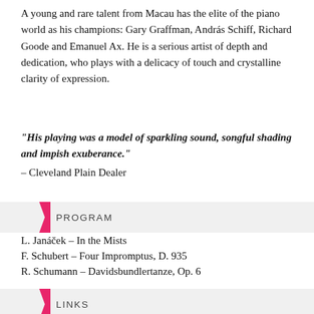A young and rare talent from Macau has the elite of the piano world as his champions: Gary Graffman, András Schiff, Richard Goode and Emanuel Ax. He is a serious artist of depth and dedication, who plays with a delicacy of touch and crystalline clarity of expression.
“His playing was a model of sparkling sound, songful shading and impish exuberance.” – Cleveland Plain Dealer
PROGRAM
L. Janáček – In the Mists
F. Schubert – Four Impromptus, D. 935
R. Schumann – Davidsbundlertanze, Op. 6
LINKS
Learn more about Kuok-Wai Lio.
BIOGRAPHY
In the few years since his graduation in 2010 from the Curtis...